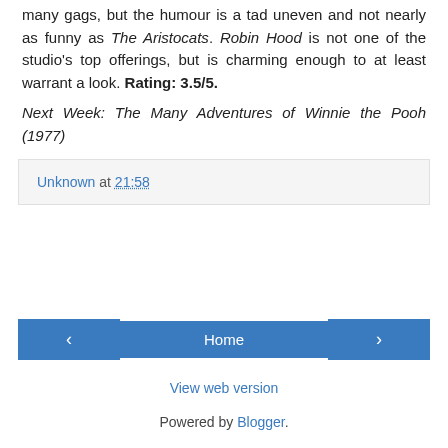many gags, but the humour is a tad uneven and not nearly as funny as The Aristocats. Robin Hood is not one of the studio's top offerings, but is charming enough to at least warrant a look. Rating: 3.5/5.
Next Week: The Many Adventures of Winnie the Pooh (1977)
Unknown at 21:58
Home
View web version
Powered by Blogger.